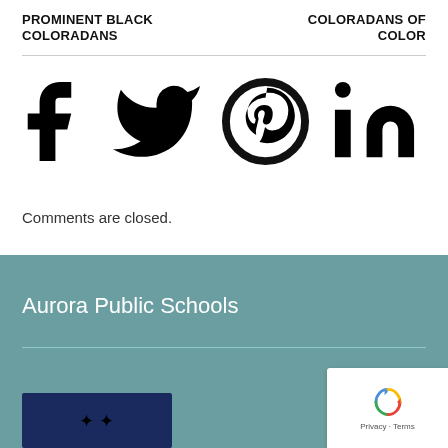PROMINENT BLACK COLORADANS
COLORADANS OF COLOR
[Figure (infographic): Social media share icons: Facebook (f), Twitter (bird), Pinterest (p circle), LinkedIn (in)]
Comments are closed.
Aurora Public Schools
[Figure (other): reCAPTCHA badge with recycling arrows icon and Privacy - Terms text]
[Figure (photo): Thumbnail image with dark navy background and stars/sparkle icons]